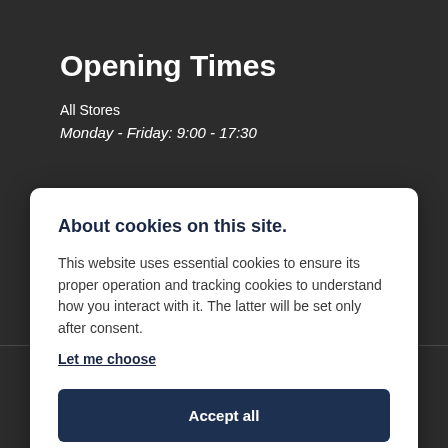Opening Times
All Stores
Monday - Friday: 9:00 - 17:30
About cookies on this site.
This website uses essential cookies to ensure its proper operation and tracking cookies to understand how you interact with it. The latter will be set only after consent. Let me choose
Accept all
Reject all